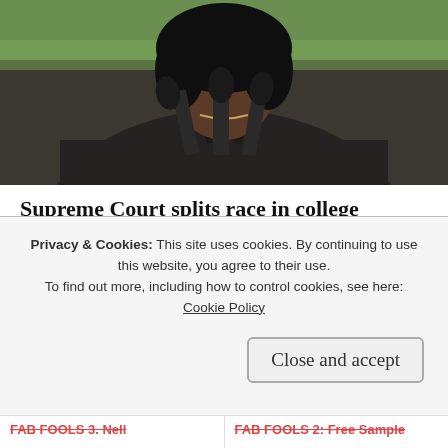[Figure (photo): Woman in dark gray blazer standing at microphones outdoors with green background, partial view from mid-torso up]
Supreme Court splits race in college admission case, allowing Justice Jackson to participate
The Grio
Share this:
Twitter
Facebook
Privacy & Cookies: This site uses cookies. By continuing to use this website, you agree to their use.
To find out more, including how to control cookies, see here: Cookie Policy
Close and accept
FAB FOOLS 3. Nell
FAB FOOLS 2: Free Sample